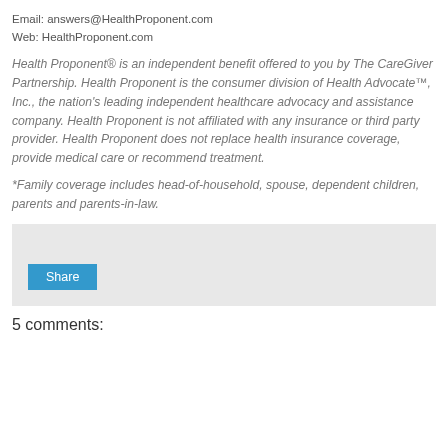Email: answers@HealthProponent.com
Web: HealthProponent.com
Health Proponent® is an independent benefit offered to you by The CareGiver Partnership. Health Proponent is the consumer division of Health Advocate™, Inc., the nation's leading independent healthcare advocacy and assistance company. Health Proponent is not affiliated with any insurance or third party provider. Health Proponent does not replace health insurance coverage, provide medical care or recommend treatment.
*Family coverage includes head-of-household, spouse, dependent children, parents and parents-in-law.
[Figure (other): A grey box containing a Share button]
5 comments: